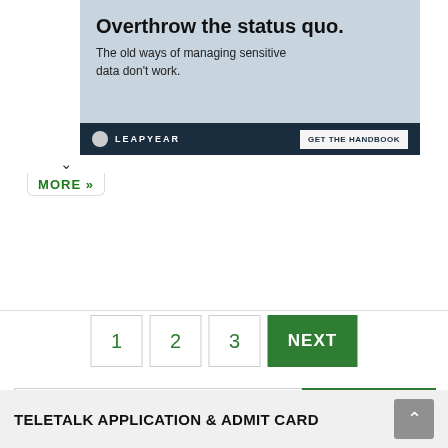[Figure (screenshot): Advertisement banner for Leapyear with text 'Overthrow the status quo. The old ways of managing sensitive data don't work.' with a dark footer containing the Leapyear logo and a 'GET THE HANDBOOK' button.]
∧ MORE »
1
2
3
NEXT
Search ...
TELETALK APPLICATION & ADMIT CARD